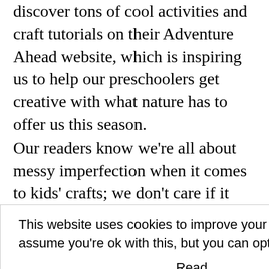discover tons of cool activities and craft tutorials on their Adventure Ahead website, which is inspiring us to help our preschoolers get creative with what nature has to offer us this season. Our readers know we're all about messy imperfection when it comes to kids' crafts; we don't care if it makes your child's wall or your refrigerator door look Pinterest-worthy, as long as our kids have a fantastic time doing it, and maybe learn something in the process. So we love that KinderCare shares our perspective — you can tell the site really encourages you to let go of complex step-by-step instructions and let your child's
This website uses cookies to improve your experience. We'll assume you're ok with this, but you can opt-out if you wish. [Accept] [Reject] Read More
hoolers make n since before nows a thing or
g together some hat we know ull up a chair and make your own crafts too. Your kids will be more focused and